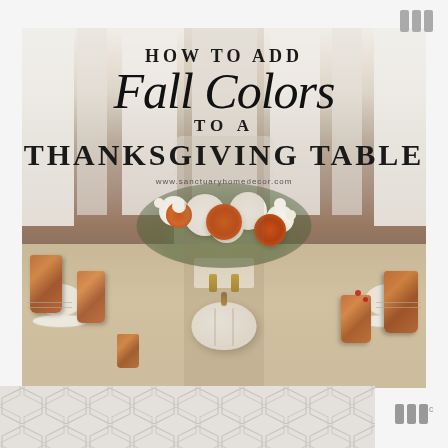[Figure (illustration): Top-right decorative logo mark with three vertical bar shapes in gray]
[Figure (photo): Thanksgiving table setting photo with floral centerpiece featuring white and orange flowers, copper mugs, white pumpkin, and place settings. Overlaid with text: 'HOW TO ADD Fall Colors TO A THANKSGIVING TABLE' and website www.sanctuaryhomedecor.com]
HOW TO ADD Fall Colors TO A THANKSGIVING TABLE
www.sanctuaryhomedecor.com
[Figure (illustration): Bottom strip with gray and white geometric hexagon/diamond chevron pattern]
[Figure (logo): Bottom-right logo mark with stylized W and superscript c in gray]